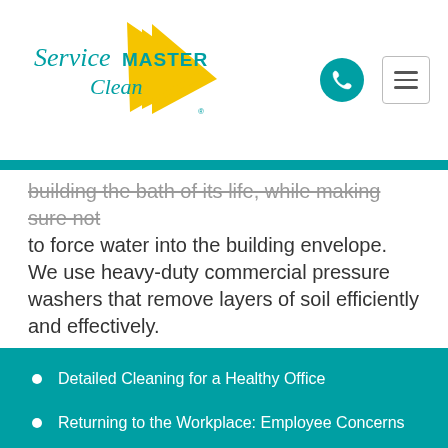[Figure (logo): ServiceMaster Clean logo with teal text and yellow triangle]
building the bath of its life, while making sure not to force water into the building envelope. We use heavy-duty commercial pressure washers that remove layers of soil efficiently and effectively.
Contact our office today for more information about these services and a no-obligation estimate.
Detailed Cleaning for a Healthy Office
Returning to the Workplace: Employee Concerns